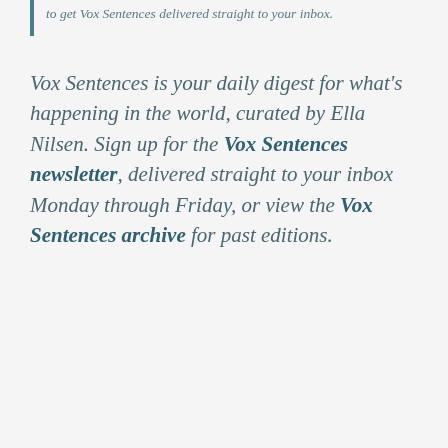to get Vox Sentences delivered straight to your inbox.
Vox Sentences is your daily digest for what's happening in the world, curated by Ella Nilsen. Sign up for the Vox Sentences newsletter, delivered straight to your inbox Monday through Friday, or view the Vox Sentences archive for past editions.